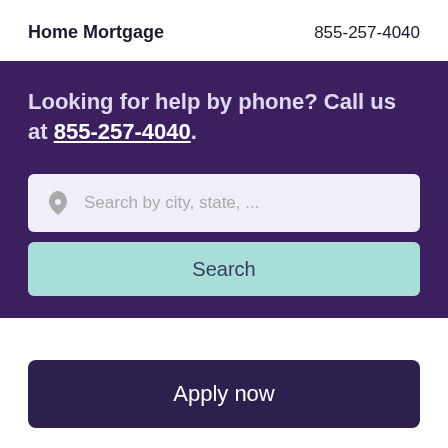Home Mortgage   855-257-4040
Looking for help by phone? Call us at 855-257-4040.
[Figure (screenshot): Search input box with location icon and placeholder text 'Search by city, state, ...']
Search
Apply now